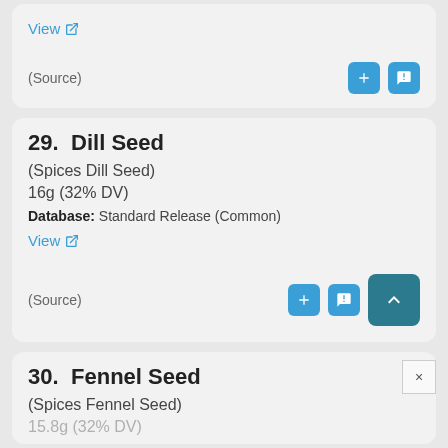View [external link]
(Source)
29. Dill Seed
(Spices Dill Seed)
16g (32% DV)
Database: Standard Release (Common)
View
(Source)
30. Fennel Seed
(Spices Fennel Seed)
15.8g (32% DV)